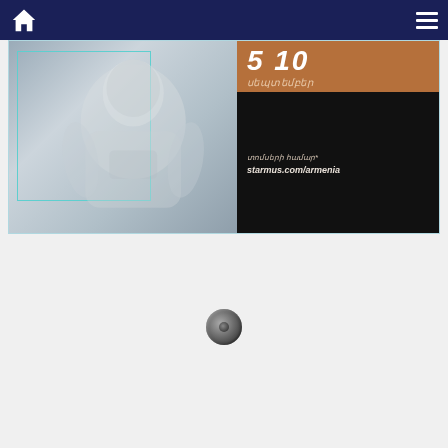Navigation bar with home icon and menu icon
[Figure (illustration): Website screenshot showing a navigation bar at top with home icon (left) and hamburger menu (right) on dark navy background. Below is a banner image of an astronaut in white spacesuit on the left side with a teal rectangular border outline, and on the right side an Armenian-text event poster with brown/orange block showing '5 10' and Armenian text 'սեպտեմբեր' (September), and a black block below with Armenian text 'տոմսերի համար' and URL 'starmus.com/armenia'. Below the banner is a large light gray empty area with a small gray loading spinner circle near the bottom center.]